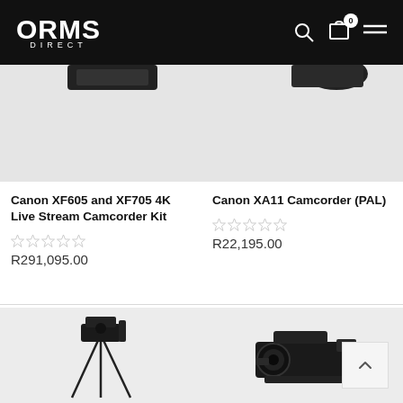ORMS DIRECT
[Figure (screenshot): Product image placeholder for Canon XF605 and XF705 4K Live Stream Camcorder Kit - gray background with partial camera top view]
Canon XF605 and XF705 4K Live Stream Camcorder Kit
R291,095.00
[Figure (screenshot): Product image placeholder for Canon XA11 Camcorder (PAL) - gray background with partial camera]
Canon XA11 Camcorder (PAL)
R22,195.00
[Figure (photo): Product image - camera on tripod/rig setup, black and white photo on light gray background]
[Figure (photo): Product image - Canon camcorder with accessories mounted, black on light gray background]